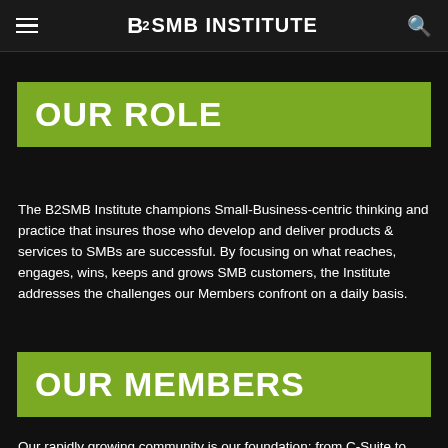B2SMB INSTITUTE
OUR ROLE
The B2SMB Institute champions Small-Business-centric thinking and practice that insures those who develop and deliver products & services to SMBs are successful. By focusing on what reaches, engages, wins, keeps and grows SMB customers, the Institute addresses the challenges our Members confront on a daily basis.
OUR MEMBERS
Our rapidly growing community is our foundation: from C-Suite to front lines, our Members include B2SMB Marketers, Brand Managers, Product